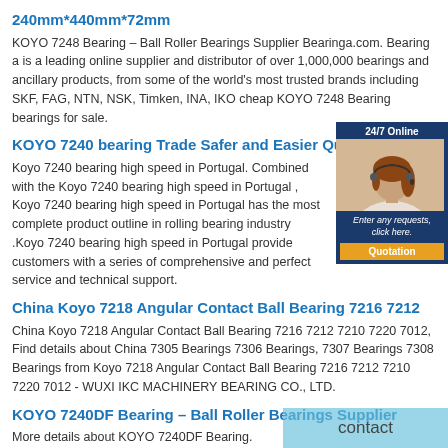240mm*440mm*72mm
KOYO 7248 Bearing – Ball Roller Bearings Supplier Bearinga.com. Bearing a is a leading online supplier and distributor of over 1,000,000 bearings and ancillary products, from some of the world's most trusted brands including SKF, FAG, NTN, NSK, Timken, INA, IKO cheap KOYO 7248 Bearing bearings for sale.
KOYO 7240 bearing Trade Safer and Easier Quality 7240
Koyo 7240 bearing high speed in Portugal. Combined with the Koyo 7240 bearing high speed in Portugal , Koyo 7240 bearing high speed in Portugal has the most complete product outline in rolling bearing industry .Koyo 7240 bearing high speed in Portugal provide customers with a series of comprehensive and perfect service and technical support.
China Koyo 7218 Angular Contact Ball Bearing 7216 7212
China Koyo 7218 Angular Contact Ball Bearing 7216 7212 7210 7220 7012, Find details about China 7305 Bearings 7306 Bearings, 7307 Bearings 7308 Bearings from Koyo 7218 Angular Contact Ball Bearing 7216 7212 7210 7220 7012 - WUXI IKC MACHINERY BEARING CO., LTD.
KOYO 7240DF Bearing – Ball Roller Bearings Supplier
More details about KOYO 7240DF Bearing. Wholesale brand KOYO 7240DF Bearing Spherical Roller Bearings, cheap KOYO 7240DF Bearing price agent